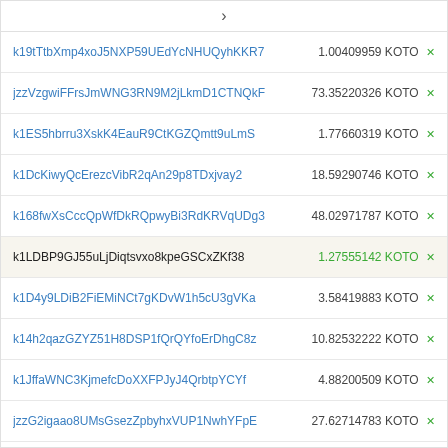k19tTtbXmp4xoJ5NXP59UEdYcNHUQyhKKR7 | 1.00409959 KOTO
jzzVzgwiFFrsJmWNG3RN9M2jLkmD1CTNQkF | 73.35220326 KOTO
k1ES5hbrru3XskK4EauR9CtKGZQmtt9uLmS | 1.77660319 KOTO
k1DcKiwyQcErezcVibR2qAn29p8TDxjvay2 | 18.59290746 KOTO
k168fwXsCccQpWfDkRQpwyBi3RdKRVqUDg3 | 48.02971787 KOTO
k1LDBP9GJ55uLjDiqtsvxo8kpeGSCxZKf38 | 1.27555142 KOTO
k1D4y9LDiB2FiEMiNCt7gKDvW1h5cU3gVKa | 3.58419883 KOTO
k14h2qazGZYZ51H8DSP1fQrQYfoErDhgC8z | 10.82532222 KOTO
k1JffaWNC3KjmefcDoXXFPJyJ4QrbtpYCYf | 4.88200509 KOTO
jzzG2igaao8UMsGsezZpbyhxVUP1NwhYFpE | 27.62714783 KOTO
k1CTBgWegzHeyivkWdP8ZhCv1Lzxpy6hsXv | 23.88336921 KOTO
k1BqDR7bNdX4ai9XVjYGEHBTQz9wdVyAf6Q | 1.20131636 KOTO
k14zfKSboXoZ7RkVihRiMR5EzG3b46X8VLq | 14.06970621 KOTO
k18UYNhXxopJ6Sj5pF7yAfVPoic9BGpzZSe | 3.30595361 KOTO